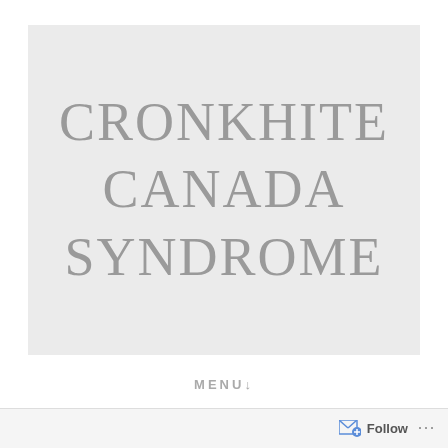[Figure (illustration): Light gray rectangular background with large centered text reading 'CRONKHITE CANADA SYNDROME' in a serif font, gray colored, serving as a title/cover image for the medical topic.]
CRONKHITE CANADA SYNDROME
MENU↓
Follow ···